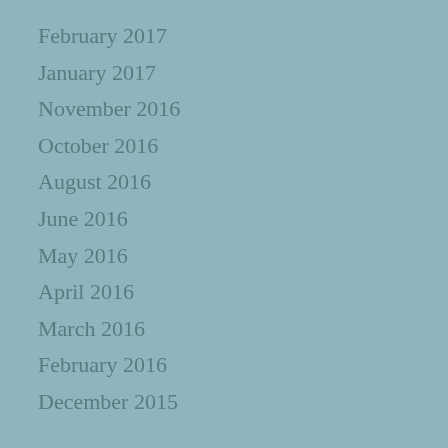February 2017
January 2017
November 2016
October 2016
August 2016
June 2016
May 2016
April 2016
March 2016
February 2016
December 2015